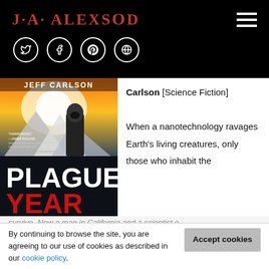J·A· ALEXSON
[Figure (logo): J·A·ALEXSON logo in red serif font on black background with hamburger menu icon and social media icons (Twitter, Facebook, Pinterest, Globe)]
[Figure (photo): Book cover of 'Plague Year' by Jeff Carlson. Shows a soldier in gas mask against a mountain background with dramatic lighting. Cover text: 'HARROWING — JAMES ROLLINS, NEW YORK TIMES BESTSELLING AUTHOR OF THE DOOMSDAY KEY. INTERNATIONAL BESTSELLING AUTHOR JEFF CARLSON. PLAGUE YEAR']
Carlson [Science Fiction]

When a nanotechnology ravages Earth's living creatures, only those who inhabit the
By continuing to browse the site, you are agreeing to our use of cookies as described in our cookie policy.
survive. Now a man in California and a scientist o